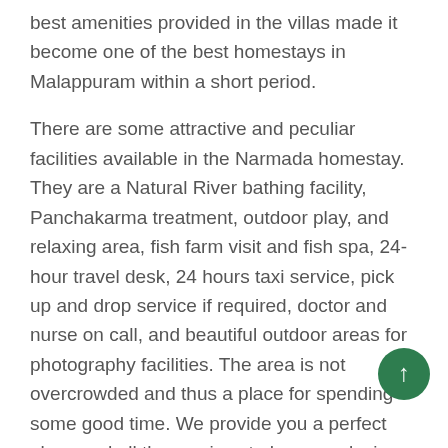best amenities provided in the villas made it become one of the best homestays in Malappuram within a short period.
There are some attractive and peculiar facilities available in the Narmada homestay. They are a Natural River bathing facility, Panchakarma treatment, outdoor play, and relaxing area, fish farm visit and fish spa, 24-hour travel desk, 24 hours taxi service, pick up and drop service if required, doctor and nurse on call, and beautiful outdoor areas for photography facilities. The area is not overcrowded and thus a place for spending some good time. We provide you a perfect place and all the services to have a relaxing, refreshing and rejuvenating. These are the peculiar features of the best homestays in Kerala.